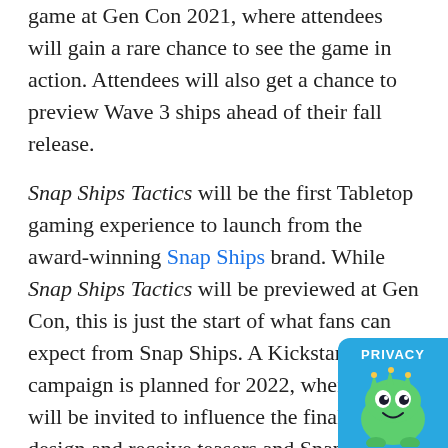game at Gen Con 2021, where attendees will gain a rare chance to see the game in action. Attendees will also get a chance to preview Wave 3 ships ahead of their fall release.
Snap Ships Tactics will be the first Tabletop gaming experience to launch from the award-winning Snap Ships brand. While Snap Ships Tactics will be previewed at Gen Con, this is just the start of what fans can expect from Snap Ships. A Kickstarter campaign is planned for 2022, where fans will be invited to influence the final game design and receive teasers and Snap Ships exclusives along the way. Fans can join the Snap Ships email list here to be the first to learn about the Kickstarter campaign, along with key updates about product arrivals and more.
“We’ve long dreamed of a tabletop game with fully customizable, modular miniatures where every model you play with reflects the unique abilities of the ship or mech you’re piloting,” said Scott Pease and Jeff Swenty, co-inventors of Snap Ships. “With Snap Ships
[Figure (illustration): Privacy badge: blue rounded rectangle with 'PRIVACY' text and cartoon monster illustration]